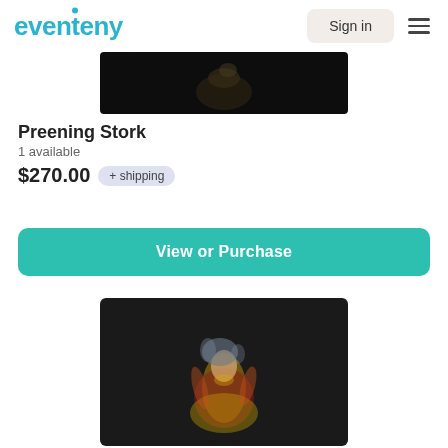eventeny
[Figure (screenshot): Partial top of a product image showing a dark background with a partially visible sculptural figure (stork), cropped at top]
Preening Stork
1 available
$270.00  + shipping
View or Purchase
[Figure (photo): A sculptural doll/art figure of a female character with wild grey-blue hair, wearing a colorful red and gold ornate costume, posed against a dark background]